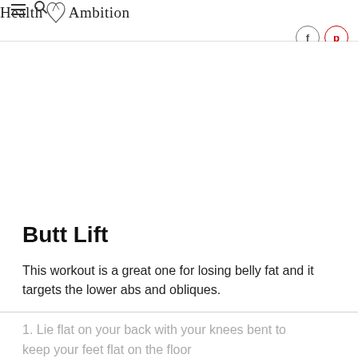Health Ambition — navigation header with hamburger menu, search icon, logo, Facebook and Pinterest icons
[Figure (other): Blank white advertisement or image space below the header]
Butt Lift
This workout is a great one for losing belly fat and it targets the lower abs and obliques.
1. Lie flat on your back with your knees bent to keep your feet flat on the floor